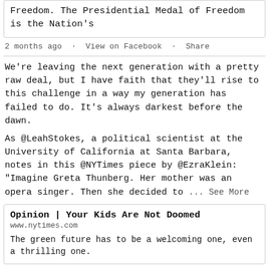Freedom. The Presidential Medal of Freedom is the Nation's
2 months ago · View on Facebook · Share
We're leaving the next generation with a pretty raw deal, but I have faith that they'll rise to this challenge in a way my generation has failed to do. It's always darkest before the dawn.
As @LeahStokes, a political scientist at the University of California at Santa Barbara, notes in this @NYTimes piece by @EzraKlein: "Imagine Greta Thunberg. Her mother was an opera singer. Then she decided to ... See More
Opinion | Your Kids Are Not Doomed
www.nytimes.com
The green future has to be a welcoming one, even a thrilling one.
2 months ago · View on Facebook · Share